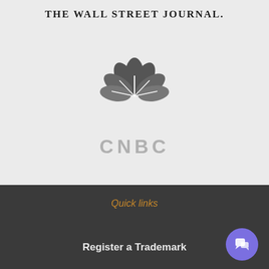THE WALL STREET JOURNAL.
[Figure (logo): CNBC peacock logo with feather icon in gray and text CNBC below in light gray]
Quick links
Register a Trademark
[Figure (illustration): Purple circular chat/support button in bottom right corner]